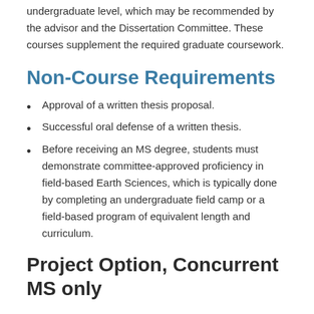undergraduate level, which may be recommended by the advisor and the Dissertation Committee. These courses supplement the required graduate coursework.
Non-Course Requirements
Approval of a written thesis proposal.
Successful oral defense of a written thesis.
Before receiving an MS degree, students must demonstrate committee-approved proficiency in field-based Earth Sciences, which is typically done by completing an undergraduate field camp or a field-based program of equivalent length and curriculum.
Project Option, Concurrent MS only